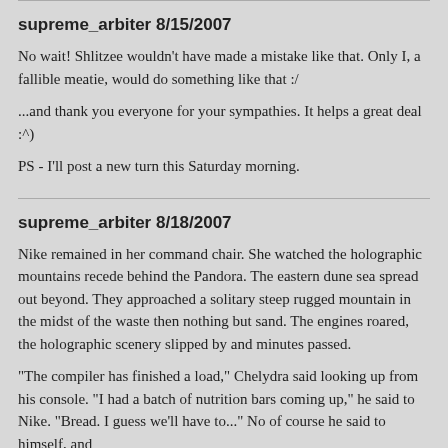supreme_arbiter 8/15/2007
No wait! Shlitzee wouldn't have made a mistake like that. Only I, a fallible meatie, would do something like that :/
...and thank you everyone for your sympathies. It helps a great deal :^)
PS - I'll post a new turn this Saturday morning.
supreme_arbiter 8/18/2007
Nike remained in her command chair. She watched the holographic mountains recede behind the Pandora. The eastern dune sea spread out beyond. They approached a solitary steep rugged mountain in the midst of the waste then nothing but sand. The engines roared, the holographic scenery slipped by and minutes passed.
"The compiler has finished a load," Chelydra said looking up from his console. "I had a batch of nutrition bars coming up," he said to Nike. "Bread. I guess we'll have to..." No of course he said to himself, and...